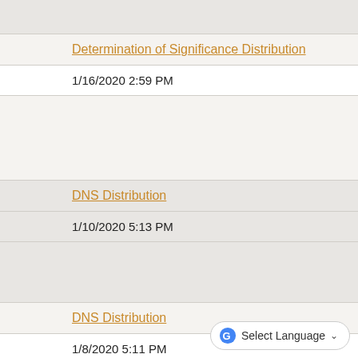Determination of Significance Distribution
1/16/2020 2:59 PM
DNS Distribution
1/10/2020 5:13 PM
DNS Distribution
1/8/2020 5:11 PM